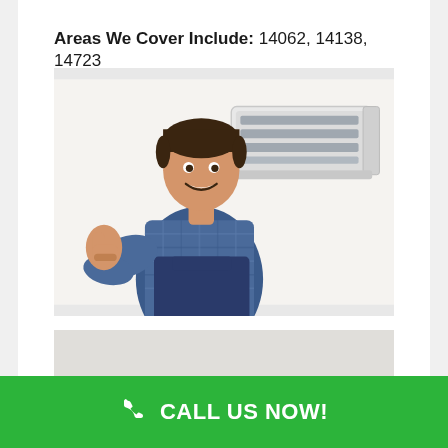Areas We Cover Include: 14062, 14138, 14723
[Figure (photo): HVAC technician in blue plaid shirt and navy overalls giving thumbs up in front of a wall-mounted mini-split air conditioning unit]
[Figure (photo): Partial view of another HVAC-related image at the bottom of the page]
CALL US NOW!